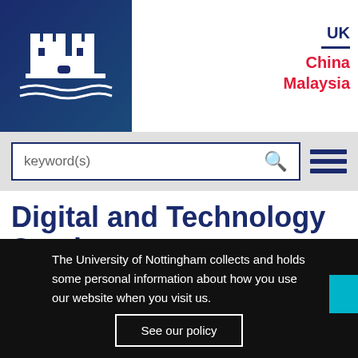[Figure (logo): University of Nottingham castle logo on dark blue background]
UK
China
Malaysia
keyword(s) [search box]
Digital and Technology Services
[Figure (photo): Dark navy blue banner image area for Digital and Technology Services]
The University of Nottingham collects and holds some personal information about how you use our website when you visit us.
See our policy